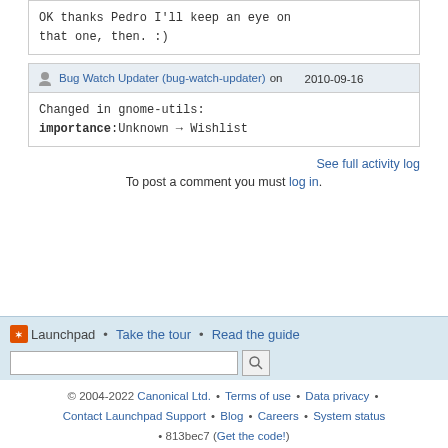OK thanks Pedro I'll keep an eye on that one, then. :)
Bug Watch Updater (bug-watch-updater) on 2010-09-16
Changed in gnome-utils:
importance:Unknown → Wishlist
See full activity log
To post a comment you must log in.
Launchpad • Take the tour • Read the guide
© 2004-2022 Canonical Ltd. • Terms of use • Data privacy • Contact Launchpad Support • Blog • Careers • System status • 813bec7 (Get the code!)